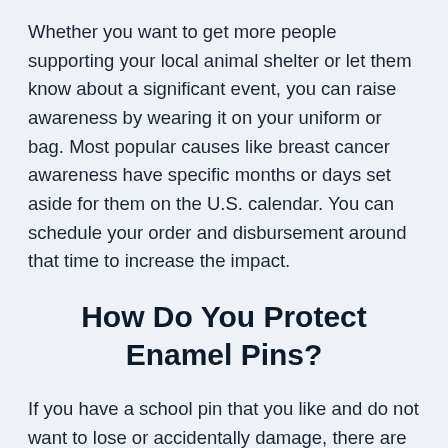Whether you want to get more people supporting your local animal shelter or let them know about a significant event, you can raise awareness by wearing it on your uniform or bag. Most popular causes like breast cancer awareness have specific months or days set aside for them on the U.S. calendar. You can schedule your order and disbursement around that time to increase the impact.
How Do You Protect Enamel Pins?
If you have a school pin that you like and do not want to lose or accidentally damage, there are a few practical steps you can take. Replace the backing with one that has an internal locking mechanism to make